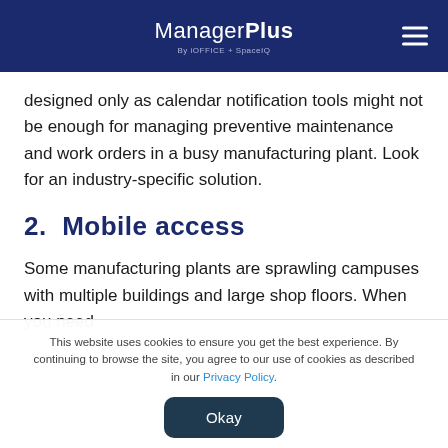ManagerPlus By iOFFICE + SpaceIQ
designed only as calendar notification tools might not be enough for managing preventive maintenance and work orders in a busy manufacturing plant. Look for an industry-specific solution.
2. Mobile access
Some manufacturing plants are sprawling campuses with multiple buildings and large shop floors. When you need
This website uses cookies to ensure you get the best experience. By continuing to browse the site, you agree to our use of cookies as described in our Privacy Policy.
Okay